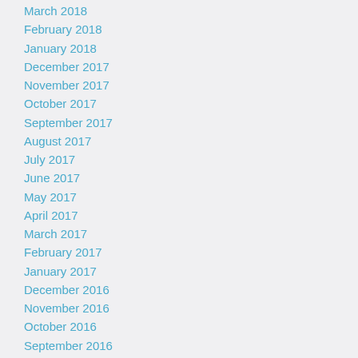March 2018
February 2018
January 2018
December 2017
November 2017
October 2017
September 2017
August 2017
July 2017
June 2017
May 2017
April 2017
March 2017
February 2017
January 2017
December 2016
November 2016
October 2016
September 2016
August 2016
July 2016
June 2016
May 2016
April 2016